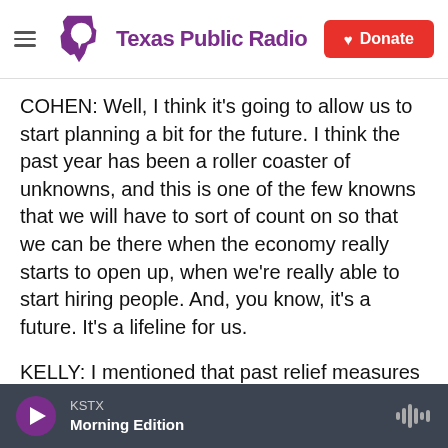Texas Public Radio | Donate
COHEN: Well, I think it's going to allow us to start planning a bit for the future. I think the past year has been a roller coaster of unknowns, and this is one of the few knowns that we will have to sort of count on so that we can be there when the economy really starts to open up, when we're really able to start hiring people. And, you know, it's a future. It's a lifeline for us.
KELLY: I mentioned that past relief measures have included loans, these PPP loans that people have heard so much about. The new measure includes grants, which is different. Why was that important
KSTX | Morning Edition